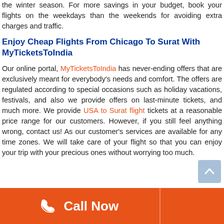the winter season. For more savings in your budget, book your flights on the weekdays than the weekends for avoiding extra charges and traffic.
Enjoy Cheap Flights From Chicago To Surat With MyTicketsToIndia
Our online portal, MyTicketsToIndia has never-ending offers that are exclusively meant for everybody's needs and comfort. The offers are regulated according to special occasions such as holiday vacations, festivals, and also we provide offers on last-minute tickets, and much more. We provide USA to Surat flight tickets at a reasonable price range for our customers. However, if you still feel anything wrong, contact us! As our customer's services are available for any time zones. We will take care of your flight so that you can enjoy your trip with your precious ones without worrying too much.
[Figure (other): Orange Call Now button bar at the bottom of the page with a phone icon]